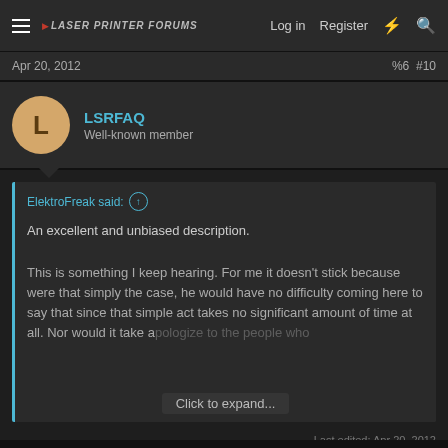LASER PRINTER FORUMS | Log in | Register
Apr 20, 2012   %6  #10
LSRFAQ
Well-known member
ElektroFreak said:
An excellent and unbiased description.

This is something I keep hearing. For me it doesn't stick because were that simply the case, he would have no difficulty coming here to say that since that simple act takes no significant amount of time at all. Nor would it take a... [Click to expand...]
Last edited: Apr 20, 2012